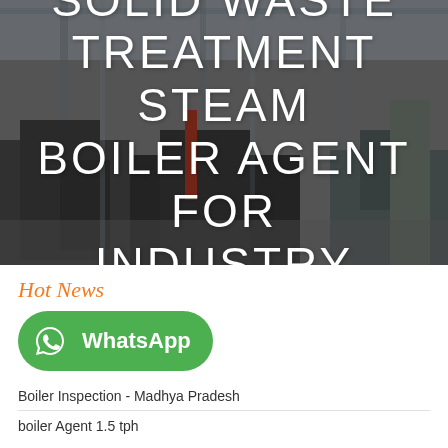[Figure (photo): Industrial boiler/factory floor interior with heavy machinery, overlaid with dark tint]
SOLID WASTE TREATMENT STEAM BOILER AGENT FOR INDUSTRY
Hot News
[Figure (logo): WhatsApp green button with WhatsApp logo icon and text 'WhatsApp']
Boiler Inspection - Madhya Pradesh
boiler Agent 1.5 tph